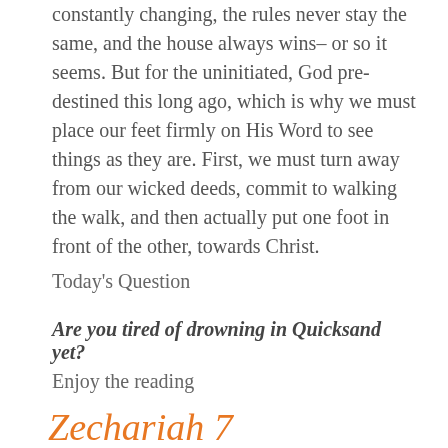constantly changing, the rules never stay the same, and the house always wins– or so it seems. But for the uninitiated, God pre-destined this long ago, which is why we must place our feet firmly on His Word to see things as they are. First, we must turn away from our wicked deeds, commit to walking the walk, and then actually put one foot in front of the other, towards Christ.
Today's Question
Are you tired of drowning in Quicksand yet?
Enjoy the reading
Zechariah 7